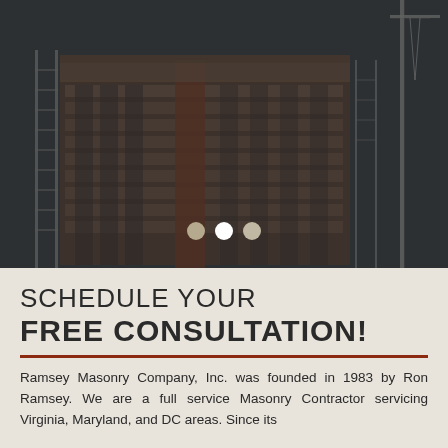[Figure (photo): Construction site photo showing a multi-story building under construction with steel scaffolding and a crane visible on the right side, overlaid with a dark semi-transparent filter. Three navigation dots appear at the bottom center of the image.]
SCHEDULE YOUR FREE CONSULTATION!
Ramsey Masonry Company, Inc. was founded in 1983 by Ron Ramsey. We are a full service Masonry Contractor servicing Virginia, Maryland, and DC areas. Since its